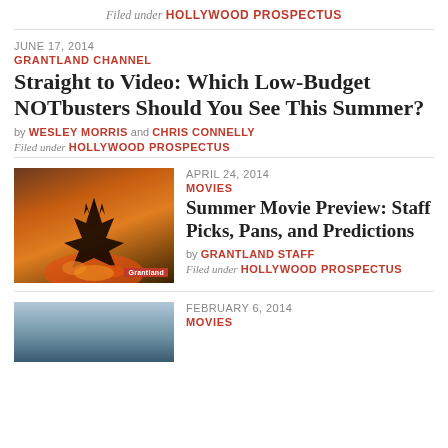Filed under HOLLYWOOD PROSPECTUS
JUNE 17, 2014
GRANTLAND CHANNEL
Straight to Video: Which Low-Budget NOTbusters Should You See This Summer?
by WESLEY MORRIS and CHRIS CONNELLY
Filed under HOLLYWOOD PROSPECTUS
[Figure (photo): Dark movie still showing a monster (Godzilla-like) silhouette against a fiery orange sky over a city]
APRIL 24, 2014
MOVIES
Summer Movie Preview: Staff Picks, Pans, and Predictions
by GRANTLAND STAFF
Filed under HOLLYWOOD PROSPECTUS
[Figure (photo): Blue-toned outdoor photo, partial view]
FEBRUARY 6, 2014
MOVIES